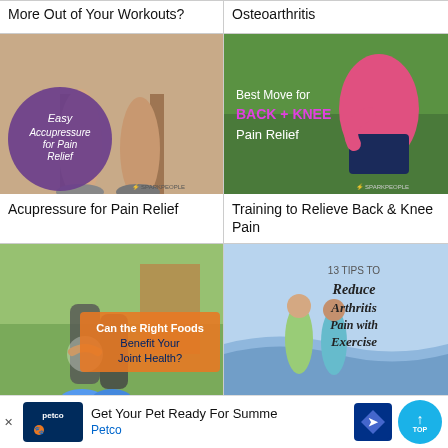More Out of Your Workouts?
Osteoarthritis
[Figure (photo): Person's legs seated on a chair with acupressure circle overlay reading 'Easy Acupressure for Pain Relief', SparkPeople logo]
Acupressure for Pain Relief
[Figure (photo): Person in pink shirt holding their lower back with text overlay 'Best Move for BACK + KNEE Pain Relief', SparkPeople logo]
Training to Relieve Back & Knee Pain
[Figure (photo): Person walking with knee injury on street, orange overlay 'Can the Right Foods Benefit Your Joint Health?']
The 5 Best Foods to Eat for
[Figure (photo): Couple walking on beach with text '13 TIPS TO Reduce Arthritis Pain with Exercise', SparkPeople logo]
thritis with
Get Your Pet Ready For Summe Petco